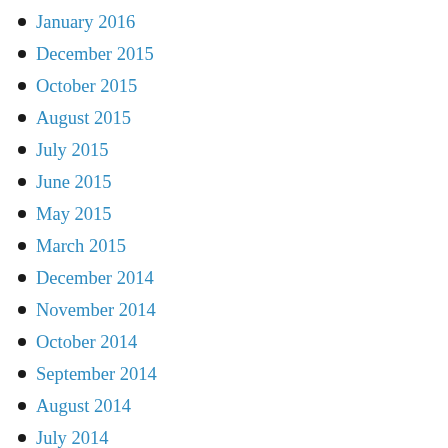January 2016
December 2015
October 2015
August 2015
July 2015
June 2015
May 2015
March 2015
December 2014
November 2014
October 2014
September 2014
August 2014
July 2014
June 2014
April 2014